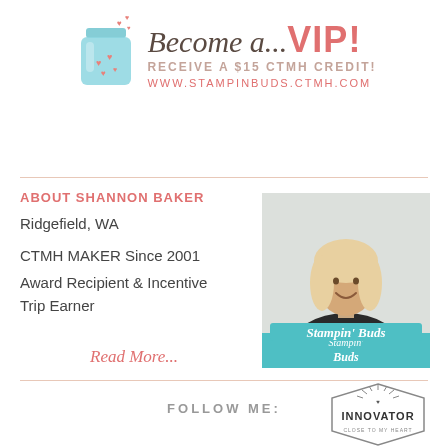[Figure (illustration): Blue jar with pink hearts illustration next to 'Become a...VIP!' heading with 'RECEIVE A $15 CTMH CREDIT!' and 'WWW.STAMPINBUDS.CTMH.COM' text]
ABOUT SHANNON BAKER
Ridgefield, WA
CTMH MAKER Since 2001
Award Recipient & Incentive Trip Earner
Read More...
[Figure (photo): Photo of Shannon Baker smiling and holding a teal Stampin' Buds sign, wearing a black top]
[Figure (logo): INNOVATOR badge - hexagonal badge with sunburst design reading INNOVATOR CLOSE TO MY HEART]
FOLLOW ME: